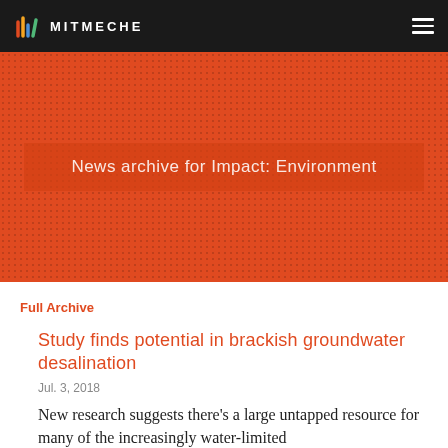MITMECHE
News archive for Impact: Environment
Full Archive
Study finds potential in brackish groundwater desalination
Jul. 3, 2018
New research suggests there's a large untapped resource for many of the increasingly water-limited